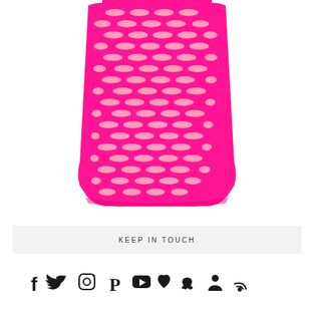[Figure (photo): A hot pink fishnet/mesh mini skirt on a white background. The skirt is a vivid magenta/fuchsia color with an open net pattern creating a grid of oval holes throughout the fabric. It is a tight mini skirt shape.]
KEEP IN TOUCH
[Figure (other): Row of social media icons: Facebook, Twitter, Instagram, Pinterest, YouTube, Bloglovin, Snapchat, Lookbook, RSS feed]